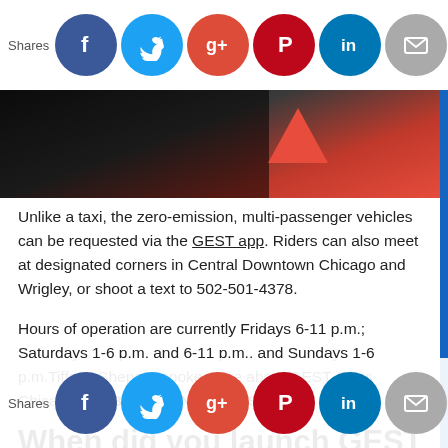[Figure (infographic): Top social sharing bar with Shares label and circular social media icons: Facebook (blue), Twitter (light blue), Google+ (red-orange), Pinterest (dark red), LinkedIn (blue), Email (grey), Crown (dark blue)]
[Figure (photo): Partial photo of what appears to be a vehicle or cart, dark background with a red/orange triangular shape visible]
Unlike a taxi, the zero-emission, multi-passenger vehicles can be requested via the GEST app. Riders can also meet at designated corners in Central Downtown Chicago and Wrigley, or shoot a text to 502-501-4378.
Hours of operation are currently Fridays 6-11 p.m.; Saturdays 1-6 p.m. and 6-11 p.m., and Sundays 1-6 p.m.Tiffany Shepard spoke more about GEST Carts Chicago with BLACK ENTERPRISE.
When did you launch GEST Carts Chicago?
GEST Carts was launched in Cincinnati, a woman-owned company. And...
[Figure (infographic): Bottom social sharing bar with Shares label and circular social media icons: Facebook (blue), Twitter (light blue), Google+ (red-orange), Pinterest (dark red), LinkedIn (blue), Email (grey), Crown (dark blue)]